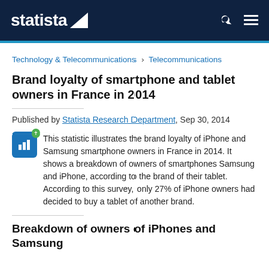statista
Technology & Telecommunications › Telecommunications
Brand loyalty of smartphone and tablet owners in France in 2014
Published by Statista Research Department, Sep 30, 2014
This statistic illustrates the brand loyalty of iPhone and Samsung smartphone owners in France in 2014. It shows a breakdown of owners of smartphones Samsung and iPhone, according to the brand of their tablet. According to this survey, only 27% of iPhone owners had decided to buy a tablet of another brand.
Breakdown of owners of iPhones and Samsung